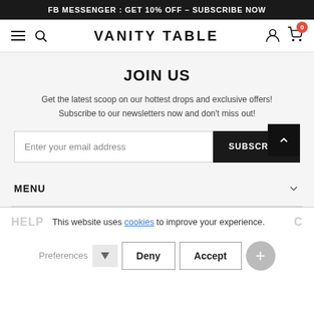FB MESSENGER : GET 10% OFF - SUBSCRIBE NOW
[Figure (screenshot): Website navigation bar with hamburger menu, search icon, VANITY TABLE logo, user icon, and cart icon with 0 badge]
JOIN US
Get the latest scoop on our hottest drops and exclusive offers! Subscribe to our newsletters now and don't miss out!
Enter your email address [input field] SUBSCRIBE [button]
MENU
This website uses cookies to improve your experience.
Preferences [dropdown] Deny Accept [plus button]